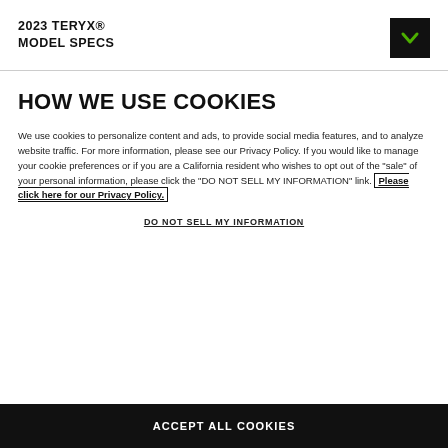2023 TERYX® MODEL SPECS
HOW WE USE COOKIES
We use cookies to personalize content and ads, to provide social media features, and to analyze website traffic. For more information, please see our Privacy Policy. If you would like to manage your cookie preferences or if you are a California resident who wishes to opt out of the "sale" of your personal information, please click the "DO NOT SELL MY INFORMATION" link. Please click here for our Privacy Policy.
DO NOT SELL MY INFORMATION
ACCEPT ALL COOKIES